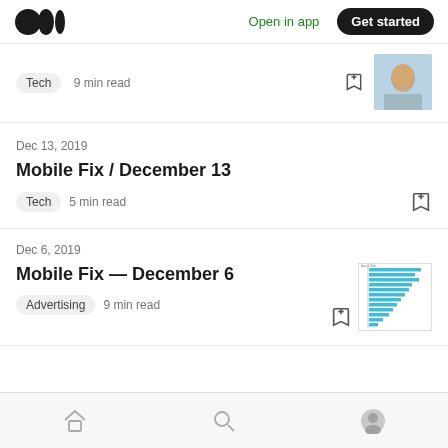Medium | Open in app | Get started
Tech  9 min read
Dec 13, 2019
Mobile Fix / December 13
Tech  5 min read
Dec 6, 2019
Mobile Fix — December 6
Advertising  9 min read
Home | Search | Profile